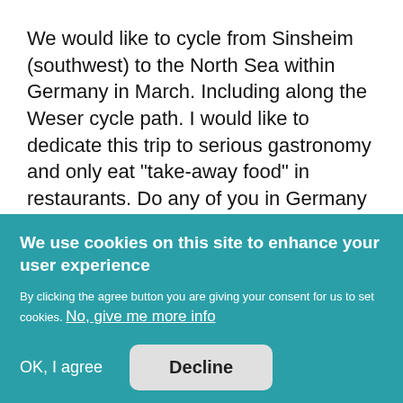We would like to cycle from Sinsheim (southwest) to the North Sea within Germany in March. Including along the Weser cycle path. I would like to dedicate this trip to serious gastronomy and only eat "take-away food" in restaurants. Do any of you in Germany currently offer hostings at all?
We use cookies on this site to enhance your user experience
By clicking the agree button you are giving your consent for us to set cookies. No, give me more info
OK, I agree
Decline